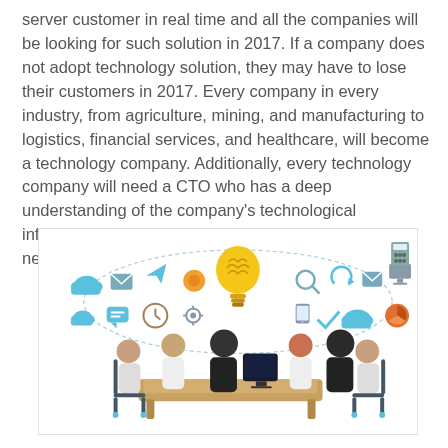server customer in real time and all the companies will be looking for such solution in 2017. If a company does not adopt technology solution, they may have to lose their customers in 2017. Every company in every industry, from agriculture, mining, and manufacturing to logistics, financial services, and healthcare, will become a technology company. Additionally, every technology company will need a CTO who has a deep understanding of the company's technological infrastructure, software development, and support needs.
[Figure (illustration): Illustration showing a group of business people sitting around a meeting table, with digital technology icons floating above them including cloud icons, a lightbulb with a brain, gears, email, chart, and other tech symbols connected by dotted lines.]